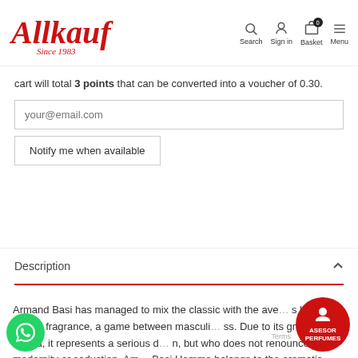Allkauf Since 1983 — Search, Sign in, Basket (0), Menu
cart will total 3 points that can be converted into a voucher of 0.30.
your@email.com
Notify me when available
Description
Armand Basi has managed to mix the classic with the ave... s best-known fragrance, a game between masculi... ss. Due to its great aroma, it represents a serious d... n, but who does not renounce modernity or seduction. Am... Basi Homme belongs to the aromatic woody family, it has a lot of